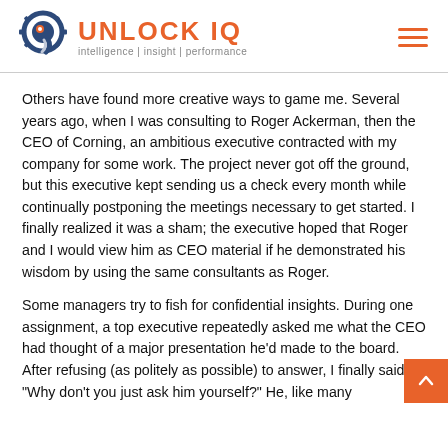UNLOCK IQ — intelligence | insight | performance
Others have found more creative ways to game me. Several years ago, when I was consulting to Roger Ackerman, then the CEO of Corning, an ambitious executive contracted with my company for some work. The project never got off the ground, but this executive kept sending us a check every month while continually postponing the meetings necessary to get started. I finally realized it was a sham; the executive hoped that Roger and I would view him as CEO material if he demonstrated his wisdom by using the same consultants as Roger.
Some managers try to fish for confidential insights. During one assignment, a top executive repeatedly asked me what the CEO had thought of a major presentation he'd made to the board. After refusing (as politely as possible) to answer, I finally said, "Why don't you just ask him yourself?" He, like many